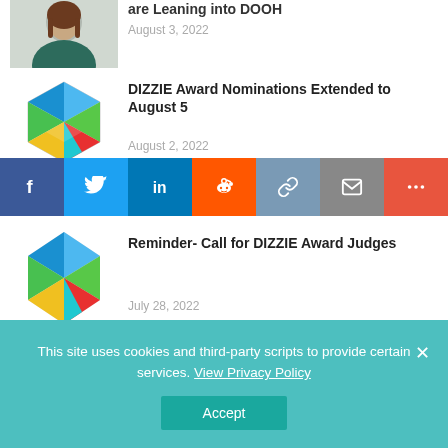[Figure (photo): Partial view of a woman with brown hair in a dark green top, cropped headshot]
are Leaning into DOOH
August 3, 2022
[Figure (logo): DIZZIE Award colorful hexagonal gem logo]
DIZZIE Award Nominations Extended to August 5
August 2, 2022
[Figure (infographic): Social share bar with Facebook, Twitter, LinkedIn, Reddit, Link, Email, and More buttons]
[Figure (logo): Digital Signage Experience Awards logo with colorful hexagonal gem and DIGITAL SIGNAGE EXPERIENCE AWARDS text]
Reminder- Call for DIZZIE Award Judges
July 28, 2022
This site uses cookies and third-party scripts to provide certain services. View Privacy Policy
Accept